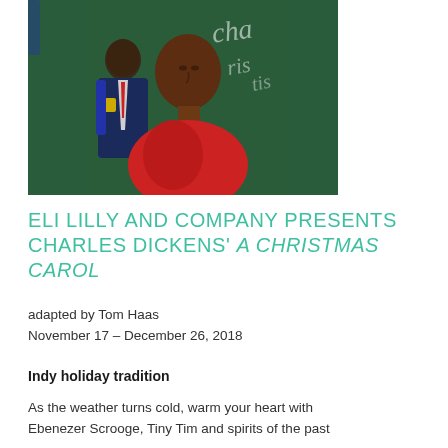[Figure (illustration): Painting showing two figures against a green background with white script writing. The foreground figure wears a red garment; the background figure wears a dark blue suit with a red tie and a yellow badge/logo.]
ELI LILLY AND COMPANY PRESENTS CHARLES DICKENS' A CHRISTMAS CAROL
adapted by Tom Haas
November 17 – December 26, 2018
Indy holiday tradition
As the weather turns cold, warm your heart with Ebenezer Scrooge, Tiny Tim and spirits of the past